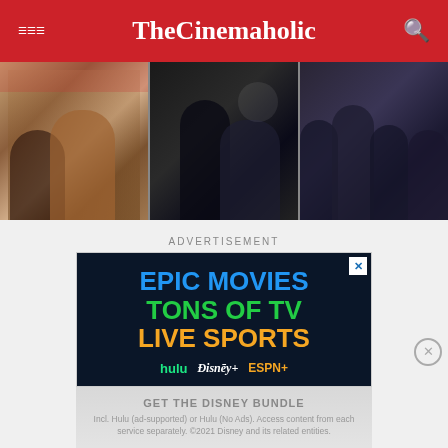TheCinemaholic
[Figure (photo): Three side-by-side movie still images: left shows two women at a diner (period setting), center shows a person in dark clothing, right shows men in suits at a table.]
ADVERTISEMENT
[Figure (screenshot): Advertisement for Disney Bundle: 'EPIC MOVIES TONS OF TV LIVE SPORTS' with Hulu, Disney+, and ESPN+ logos on dark navy background. Includes close button (X) in top right.]
GET THE DISNEY BUNDLE
Incl. Hulu (ad-supported) or Hulu (No Ads). Access content from each service separately. ©2021 Disney and its related entities.